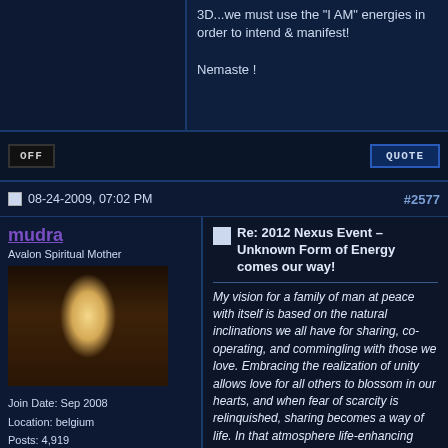3D...we must use the "I AM" energies in order to intend & manifest!

Nemaste !
OFF
QUOTE
08-24-2009, 07:02 PM  #2577
mudra
Avalon Spiritual Mother
[Figure (photo): Avatar photo of a woman in white robe sitting in meditative pose in a dimly lit room]
Join Date: Sep 2008
Location: belgium
Posts: 4,919
Re: 2012 Nexus Event – Unknown Form of Energy comes our way!
My vision for a family of man at peace with itself is based on the natural inclinations we all have for sharing, co-operating, and commingling with those we love. Embracing the realization of unity allows love for all others to blossom in our hearts, and when fear of scarcity is relinquished, sharing becomes a way of life. In that atmosphere life-enhancing systems of harmonious relationships evolve naturally. The turning point for each one of us is heartfelt gratitude for all that is, and willingness to accept all people as precious family members, valuing them as they are without prejudice or judgment. There are three simple steps that can lift each of us into the joyous atmosphere of freedom.
The first is willingness to Let Go of the